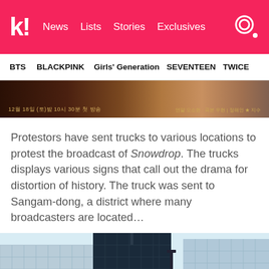k! News  Lists  Stories  Exclusives
BTS  BLACKPINK  Girls' Generation  SEVENTEEN  TWICE
[Figure (photo): Cropped Korean TV drama promotional image with Korean text at bottom showing broadcast date and cast including Jisoo]
Protestors have sent trucks to various locations to protest the broadcast of Snowdrop. The trucks displays various signs that call out the drama for distortion of history. The truck was sent to Sangam-dong, a district where many broadcasters are located…
[Figure (photo): Photo of modern glass skyscraper buildings shot from below against a bright sky, representing broadcast district Sangam-dong]